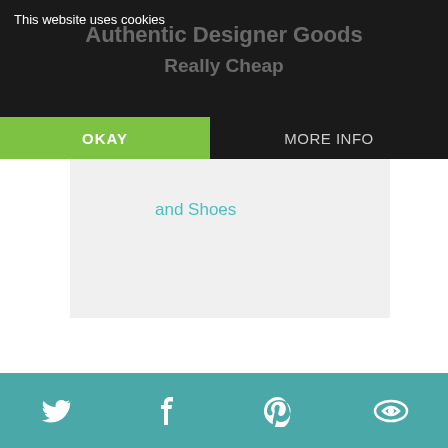This website uses cookies
Authentic Designer Goods Really Cheap
sold from Designer Handbags and Shoes
Determine the Right Price
This is one of the most difficult things to do. But over the years, I have learned how to price my items better. My consideration for pricing my merchandise includes
Social share icons: Twitter, Facebook, Pinterest, Other